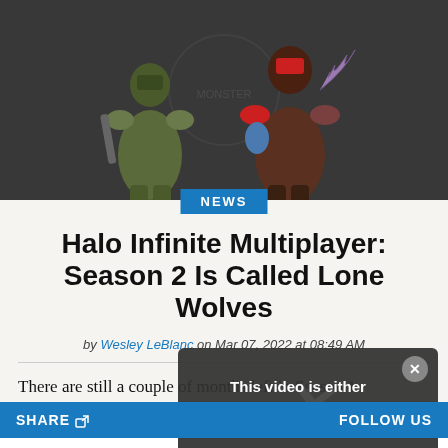[Figure (illustration): Two armored Halo Infinite multiplayer characters standing against a dark grey background. Left character wears green military armor, right character wears red and dark armor. A 'NEWS' blue badge is overlaid at the bottom center of the image.]
Halo Infinite Multiplayer: Season 2 Is Called Lone Wolves
by Wesley LeBlanc on Mar 07, 2022 at 08:49 AM
There are still a couple of months left in Season 1: